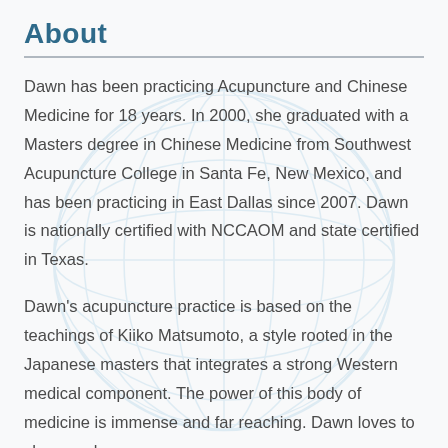About
Dawn has been practicing Acupuncture and Chinese Medicine for 18 years.  In 2000, she graduated with a Masters degree in Chinese Medicine from Southwest Acupuncture College in Santa Fe, New Mexico, and has been practicing in East Dallas since 2007.  Dawn is nationally certified with NCCAOM and state certified in Texas.
Dawn’s acupuncture practice is based on the teachings of Kiiko Matsumoto, a style rooted in the Japanese masters that integrates a strong Western medical component.  The power of this body of medicine is immense and far reaching.  Dawn loves to share and